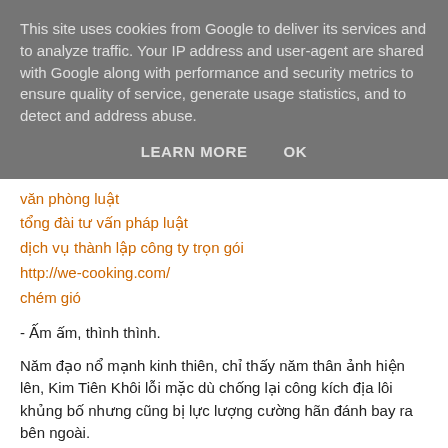This site uses cookies from Google to deliver its services and to analyze traffic. Your IP address and user-agent are shared with Google along with performance and security metrics to ensure quality of service, generate usage statistics, and to detect and address abuse.
LEARN MORE    OK
văn phòng luật
tổng đài tư vấn pháp luật
dịch vụ thành lập công ty trọn gói
http://we-cooking.com/
chém gió
- Ấm ấm, thình thình.
Năm đạo nổ mạnh kinh thiên, chỉ thấy năm thân ảnh hiện lên, Kim Tiên Khôi lỗi mặc dù chống lại công kích địa lôi khủng bố nhưng cũng bị lực lượng cường hãn đánh bay ra bên ngoài.
- Không có việc gì.